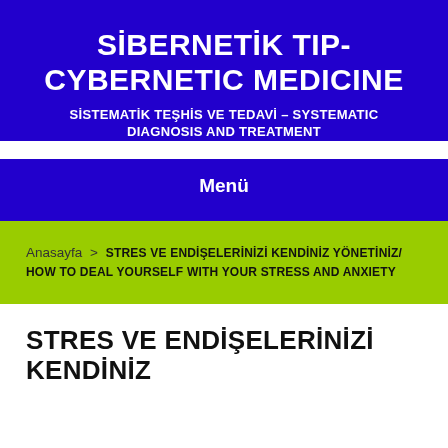SİBERNETİK TIP- CYBERNETIC MEDICINE
SİSTEMATİK TEŞHİS VE TEDAVİ – SYSTEMATIC DIAGNOSIS AND TREATMENT
Menü
Anasayfa > STRES VE ENDİŞELERİNİZİ KENDİNİZ YÖNETİNİZ/ HOW TO DEAL YOURSELF WITH YOUR STRESS AND ANXIETY
STRES VE ENDİŞELERİNİZİ KENDİNİZ